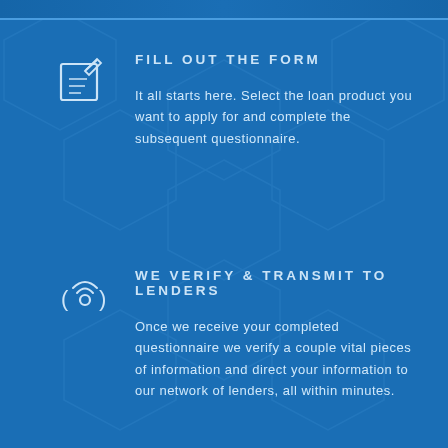FILL OUT THE FORM
It all starts here. Select the loan product you want to apply for and complete the subsequent questionnaire.
WE VERIFY & TRANSMIT TO LENDERS
Once we receive your completed questionnaire we verify a couple vital pieces of information and direct your information to our network of lenders, all within minutes.